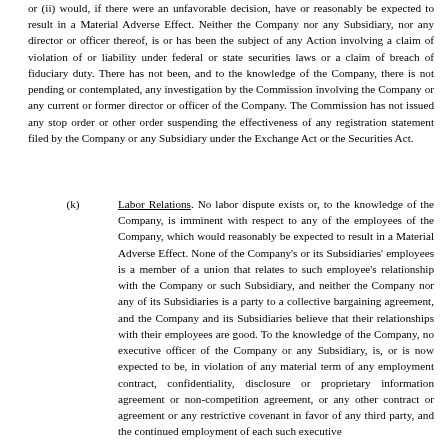or (ii) would, if there were an unfavorable decision, have or reasonably be expected to result in a Material Adverse Effect. Neither the Company nor any Subsidiary, nor any director or officer thereof, is or has been the subject of any Action involving a claim of violation of or liability under federal or state securities laws or a claim of breach of fiduciary duty. There has not been, and to the knowledge of the Company, there is not pending or contemplated, any investigation by the Commission involving the Company or any current or former director or officer of the Company. The Commission has not issued any stop order or other order suspending the effectiveness of any registration statement filed by the Company or any Subsidiary under the Exchange Act or the Securities Act.
(k) Labor Relations. No labor dispute exists or, to the knowledge of the Company, is imminent with respect to any of the employees of the Company, which would reasonably be expected to result in a Material Adverse Effect. None of the Company's or its Subsidiaries' employees is a member of a union that relates to such employee's relationship with the Company or such Subsidiary, and neither the Company nor any of its Subsidiaries is a party to a collective bargaining agreement, and the Company and its Subsidiaries believe that their relationships with their employees are good. To the knowledge of the Company, no executive officer of the Company or any Subsidiary, is, or is now expected to be, in violation of any material term of any employment contract, confidentiality, disclosure or proprietary information agreement or non-competition agreement, or any other contract or agreement or any restrictive covenant in favor of any third party, and the continued employment of each such executive